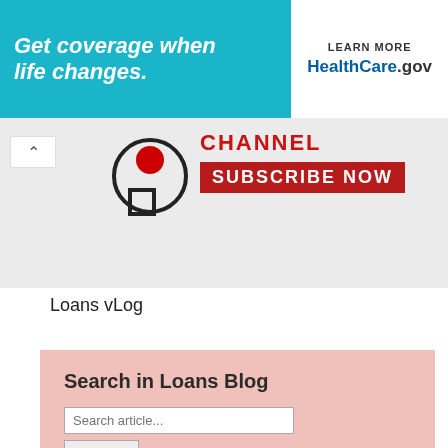[Figure (screenshot): Healthcare.gov advertisement banner: teal background with italic bold white text 'Get coverage when life changes.' and white box on right with 'LEARN MORE' and 'HealthCare.gov' text]
[Figure (screenshot): YouTube channel banner showing partial logo with red circle/icon, 'CHANNEL' text in red, and red 'SUBSCRIBE NOW' button, with a collapse arrow button on left]
Loans vLog
Search in Loans Blog
Search article...
Search
About